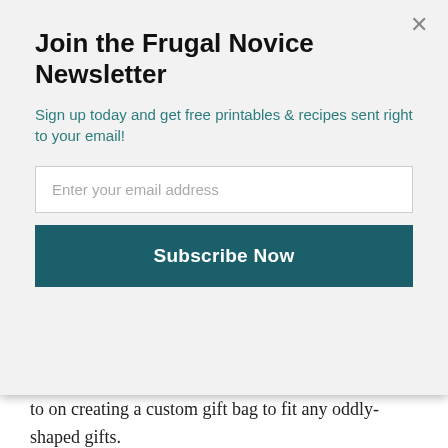Join the Frugal Novice Newsletter
Sign up today and get free printables & recipes sent right to your email!
Enter your email address
Subscribe Now
to on creating a custom gift bag to fit any oddly-shaped gifts.
You can see above the variety of gifts we decided were perfect for our dog Sally to give our other dog Ninja. So fun, right? A rawhide candy cane, a tub of yummy Beneful food, a dog toy, and a custom collar slide to help him feel festive.
Here’s how we assembled the collar slide – I